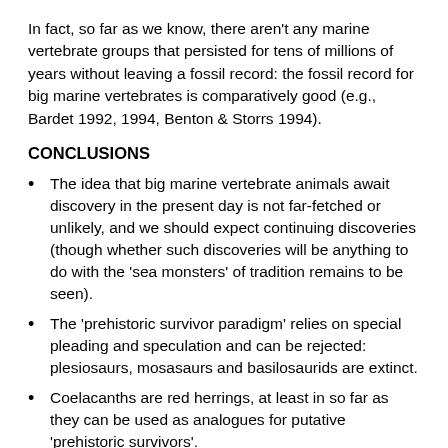In fact, so far as we know, there aren't any marine vertebrate groups that persisted for tens of millions of years without leaving a fossil record: the fossil record for big marine vertebrates is comparatively good (e.g., Bardet 1992, 1994, Benton & Storrs 1994).
CONCLUSIONS
The idea that big marine vertebrate animals await discovery in the present day is not far-fetched or unlikely, and we should expect continuing discoveries (though whether such discoveries will be anything to do with the 'sea monsters' of tradition remains to be seen).
The 'prehistoric survivor paradigm' relies on special pleading and speculation and can be rejected: plesiosaurs, mosasaurs and basilosaurids are extinct.
Coelacanths are red herrings, at least in so far as they can be used as analogues for putative 'prehistoric survivors'.
What data we have on 'sea monsters' is not good enough for firm conclusions to be reached about the creatures concerned: we don't know what they are and need more evidence!
For previous Tet Zoo articles on sea monsters, or marine